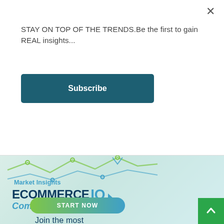STAY ON TOP OF THE TRENDS.Be the first to gain REAL insights...
Subscribe
[Figure (infographic): EcommerceIQ Market Insights banner ad with decorative chart lines, 'Market Insights' label, 'ECOMMERCE IQ Compete Smarter' branding, a 'START NOW' button, and 'Join the most' text. Light teal/green gradient background.]
Join the most